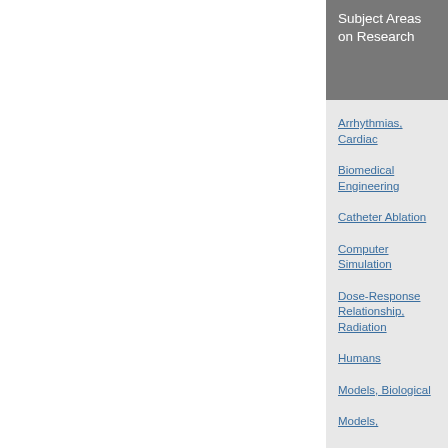Subject Areas on Research
Arrhythmias, Cardiac
Biomedical Engineering
Catheter Ablation
Computer Simulation
Dose-Response Relationship, Radiation
Humans
Models, Biological
Models,